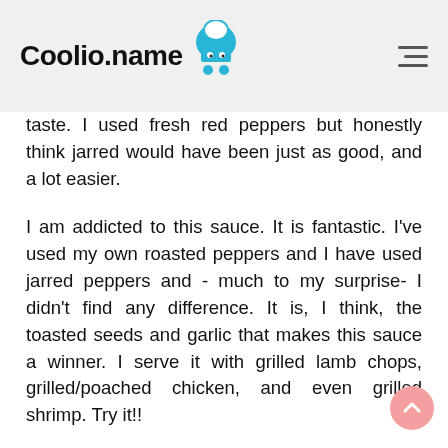Coolio.name
taste. I used fresh red peppers but honestly think jarred would have been just as good, and a lot easier.
I am addicted to this sauce. It is fantastic. I've used my own roasted peppers and I have used jarred peppers and - much to my surprise- I didn't find any difference. It is, I think, the toasted seeds and garlic that makes this sauce a winner. I serve it with grilled lamb chops, grilled/poached chicken, and even grilled shrimp. Try it!!
This sauce is a winner! I, too, used jarred red peppers due to others' recommendations: a 32-oz jar of Sclafani "Red Pepper Hulls" the whole quart.